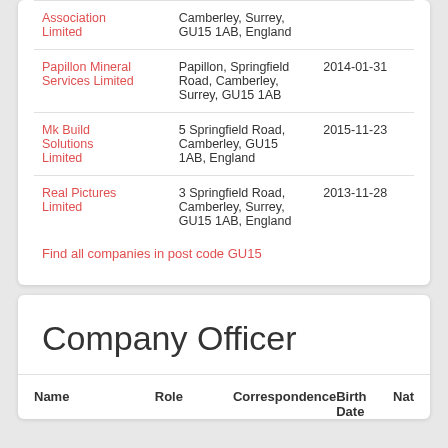| Company | Address | Date |
| --- | --- | --- |
| Association Limited | Camberley, Surrey, GU15 1AB, England |  |
| Papillon Mineral Services Limited | Papillon, Springfield Road, Camberley, Surrey, GU15 1AB | 2014-01-31 |
| Mk Build Solutions Limited | 5 Springfield Road, Camberley, GU15 1AB, England | 2015-11-23 |
| Real Pictures Limited | 3 Springfield Road, Camberley, Surrey, GU15 1AB, England | 2013-11-28 |
Find all companies in post code GU15
Company Officer
| Name | Role | Correspondence | Birth Date | Nat |
| --- | --- | --- | --- | --- |